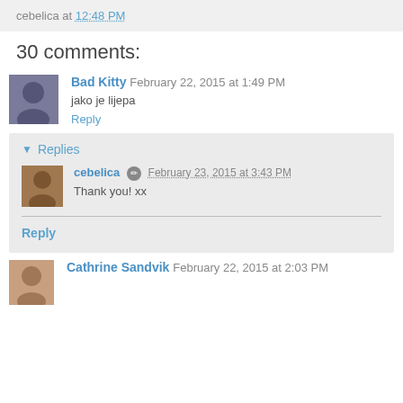cebelica at 12:48 PM
30 comments:
Bad Kitty February 22, 2015 at 1:49 PM
jako je lijepa
Reply
Replies
cebelica February 23, 2015 at 3:43 PM
Thank you! xx
Reply
Cathrine Sandvik February 22, 2015 at 2:03 PM